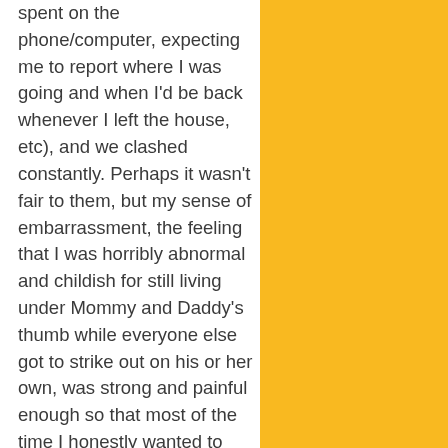spent on the phone/computer, expecting me to report where I was going and when I'd be back whenever I left the house, etc), and we clashed constantly. Perhaps it wasn't fair to them, but my sense of embarrassment, the feeling that I was horribly abnormal and childish for still living under Mommy and Daddy's thumb while everyone else got to strike out on his or her own, was strong and painful enough so that most of the time I honestly wanted to pretend they weren't there. It was just a really bad situation, and it hardly